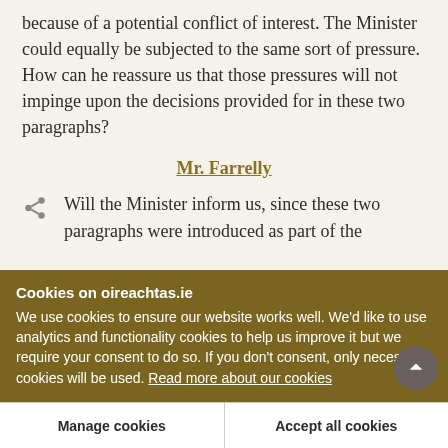because of a potential conflict of interest. The Minister could equally be subjected to the same sort of pressure. How can he reassure us that those pressures will not impinge upon the decisions provided for in these two paragraphs?
Mr. Farrelly
Will the Minister inform us, since these two paragraphs were introduced as part of the
Cookies on oireachtas.ie
We use cookies to ensure our website works well. We'd like to use analytics and functionality cookies to help us improve it but we require your consent to do so. If you don't consent, only necessary cookies will be used. Read more about our cookies
Manage cookies
Accept all cookies